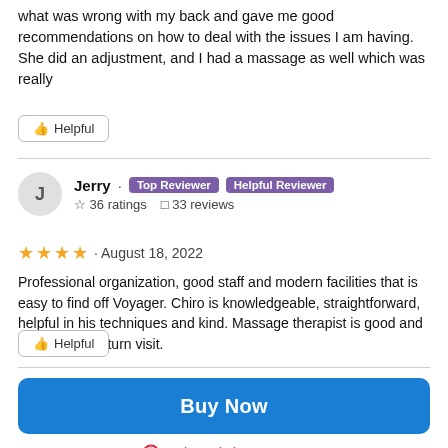what was wrong with my back and gave me good recommendations on how to deal with the issues I am having. She did an adjustment, and I had a massage as well which was really
Helpful
Jerry · Top Reviewer · Helpful Reviewer
☆ 36 ratings  ☐ 33 reviews
★★★★ · August 18, 2022
Professional organization, good staff and modern facilities that is easy to find off Voyager. Chiro is knowledgeable, straightforward, helpful in his techniques and kind. Massage therapist is good and worthy for a return visit.
Helpful
Buy Now
Sale ends in: 23:09:53